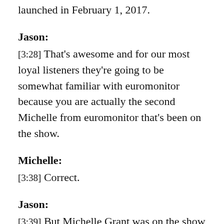launched in February 1, 2017.
Jason:
[3:28] That's awesome and for our most loyal listeners they're going to be somewhat familiar with euromonitor because you are actually the second Michelle from euromonitor that's been on the show.
Michelle:
[3:38] Correct.
Jason:
[3:39] But Michelle Grant was on the show number of years ago back in episode 34 when we're still figuring out how to do it so now that we've got all the Kinks worked out.